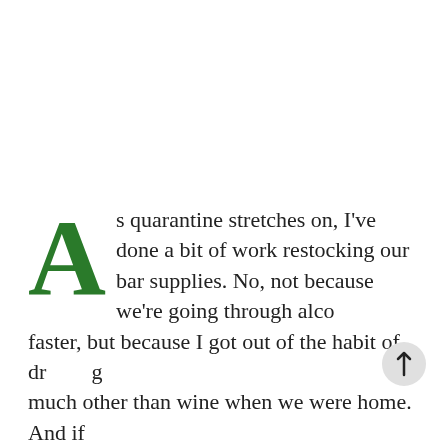As quarantine stretches on, I've done a bit of work restocking our bar supplies. No, not because we're going through alcohol faster, but because I got out of the habit of drinking much other than wine when we were home. And if